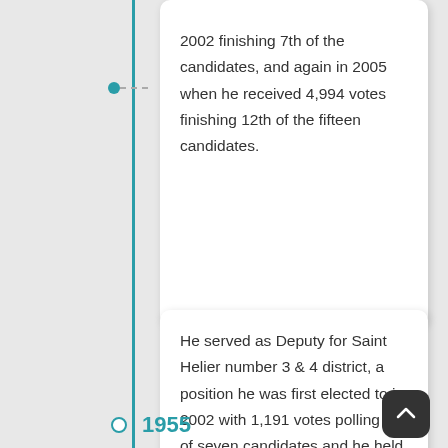2002 finishing 7th of the candidates, and again in 2005 when he received 4,994 votes finishing 12th of the fifteen candidates.
He served as Deputy for Saint Helier number 3 & 4 district, a position he was first elected to in 2002 with 1,191 votes polling 4th of seven candidates and he held his seat in the 2005 elections where he polled 836 votes finishing 4th of the seven candidates.
1955